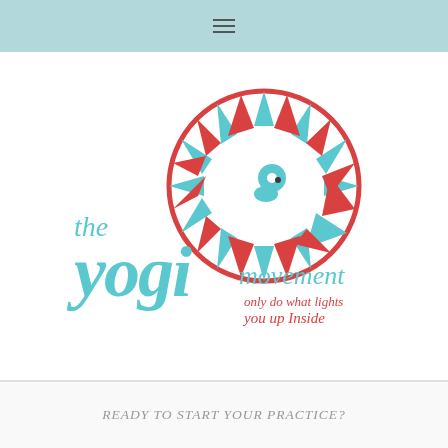≡
[Figure (logo): The Yogi Movement logo featuring a decorative mandala/sun circle in red and light blue, with cursive text 'the yogi movement' in light blue, and tagline 'only do what lights you up Inside' in red]
READY TO START YOUR PRACTICE?